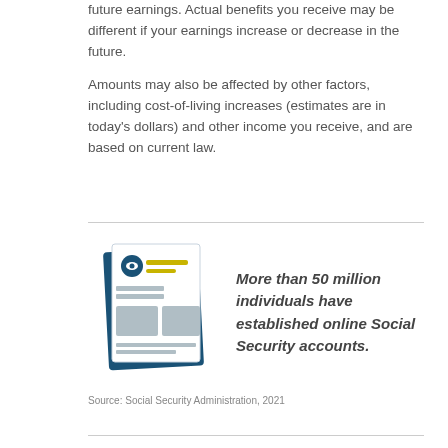future earnings. Actual benefits you receive may be different if your earnings increase or decrease in the future.
Amounts may also be affected by other factors, including cost-of-living increases (estimates are in today’s dollars) and other income you receive, and are based on current law.
[Figure (illustration): Illustration of a Social Security document/card with a lock icon on it]
More than 50 million individuals have established online Social Security accounts.
Source: Social Security Administration, 2021